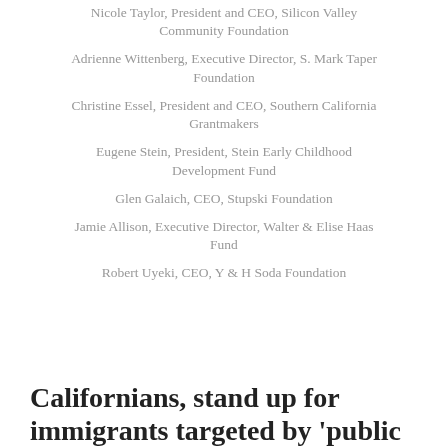Nicole Taylor, President and CEO, Silicon Valley Community Foundation
Adrienne Wittenberg, Executive Director, S. Mark Taper Foundation
Christine Essel, President and CEO, Southern California Grantmakers
Eugene Stein, President, Stein Early Childhood Development Fund
Glen Galaich, CEO, Stupski Foundation
Jamie Allison, Executive Director, Walter & Elise Haas Fund
Robert Uyeki, CEO, Y & H Soda Foundation
Californians, stand up for immigrants targeted by 'public